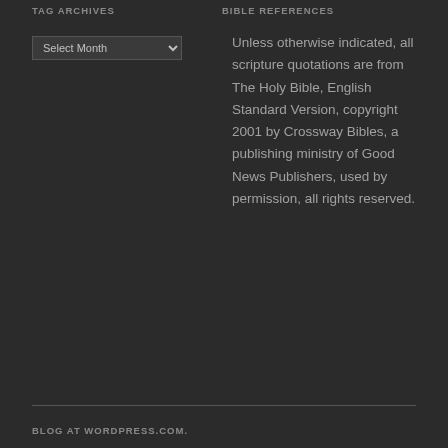TAG ARCHIVES
BIBLE REFERENCES
Select Month
Unless otherwise indicated, all scripture quotations are from The Holy Bible, English Standard Version, copyright 2001 by Crossway Bibles, a publishing ministry of Good News Publishers, used by permission, all rights reserved.
BLOG AT WORDPRESS.COM.